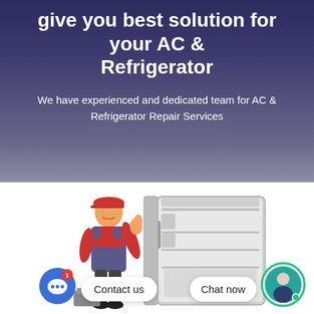give you best solution for your AC & Refrigerator
We have experienced and dedicated team for AC & Refrigerator Repair Services
[Figure (photo): A refrigerator repair mechanic in red uniform and cap giving thumbs up, standing next to an open refrigerator]
Contact us
Chat now